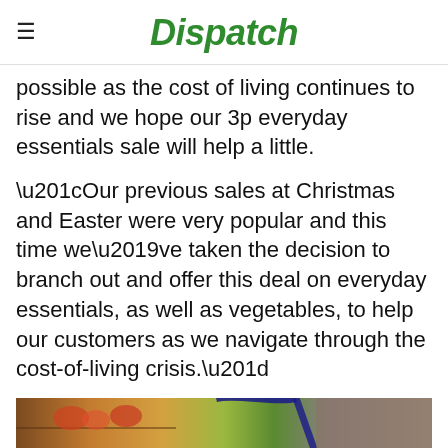Dispatch
possible as the cost of living continues to rise and we hope our 3p everyday essentials sale will help a little.
“Our previous sales at Christmas and Easter were very popular and this time we’ve taken the decision to branch out and offer this deal on everyday essentials, as well as vegetables, to help our customers as we navigate through the cost-of-living crisis.”
[Figure (photo): Photo of a grocery store interior showing shelves with products and a shopping basket handle visible in the foreground]